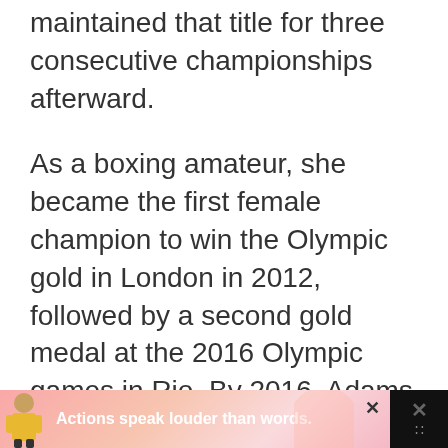maintained that title for three consecutive championships afterward.
As a boxing amateur, she became the first female champion to win the Olympic gold in London in 2012, followed by a second gold medal at the 2016 Olympic games in Rio. By 2016, Adams was the reigning European, World, and Olympic Games champion in the flyweight division.
[Figure (infographic): Advertisement banner with dark background. Left portion shows a pink/salmon gradient background with a figure of a person in a yellow shirt and the text 'Actions speak louder than words.' in bold white. Right portion is black with an X close button and a weather/app icon.]